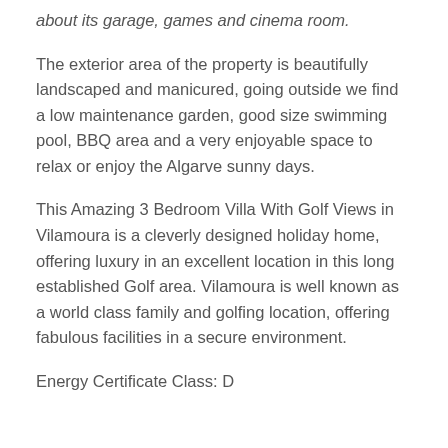about its garage, games and cinema room.
The exterior area of the property is beautifully landscaped and manicured, going outside we find a low maintenance garden, good size swimming pool, BBQ area and a very enjoyable space to relax or enjoy the Algarve sunny days.
This Amazing 3 Bedroom Villa With Golf Views in Vilamoura is a cleverly designed holiday home, offering luxury in an excellent location in this long established Golf area. Vilamoura is well known as a world class family and golfing location, offering fabulous facilities in a secure environment.
Energy Certificate Class: D